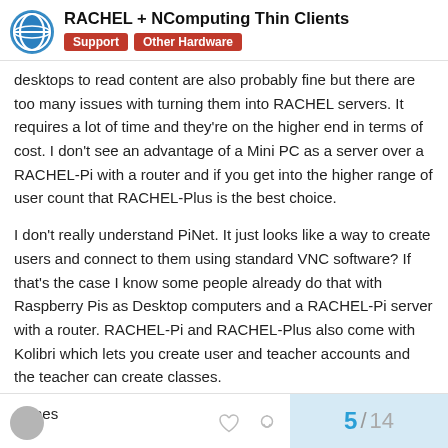RACHEL + NComputing Thin Clients | Support | Other Hardware
desktops to read content are also probably fine but there are too many issues with turning them into RACHEL servers. It requires a lot of time and they're on the higher end in terms of cost. I don't see an advantage of a Mini PC as a server over a RACHEL-Pi with a router and if you get into the higher range of user count that RACHEL-Plus is the best choice.
I don't really understand PiNet. It just looks like a way to create users and connect to them using standard VNC software? If that's the case I know some people already do that with Raspberry Pis as Desktop computers and a RACHEL-Pi server with a router. RACHEL-Pi and RACHEL-Plus also come with Kolibri which lets you create user and teacher accounts and the teacher can create classes.
James
5 / 14